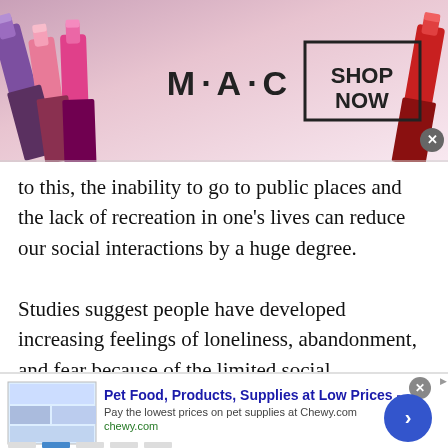[Figure (screenshot): MAC cosmetics advertisement banner showing colorful lipsticks on the left, MAC logo in the center, and a 'SHOP NOW' button in a black bordered box on the right. A close button is visible in the top right corner.]
to this, the inability to go to public places and the lack of recreation in one's lives can reduce our social interactions by a huge degree.

Studies suggest people have developed increasing feelings of loneliness, abandonment, and fear because of the limited social interaction. Dating , making friends, establishing new connections, in fact all social interactions have been leached out of our lives. Research has also shown that mental illnesses because of loneliness and the uncertain situation, mental illnesses have become
[Figure (screenshot): Chewy.com advertisement banner showing pet food products thumbnail on the left, title 'Pet Food, Products, Supplies at Low Prices -', description 'Pay the lowest prices on pet supplies at Chewy.com', URL 'chewy.com', and a blue circular arrow button on the right. A close button and ad label are visible at top.]